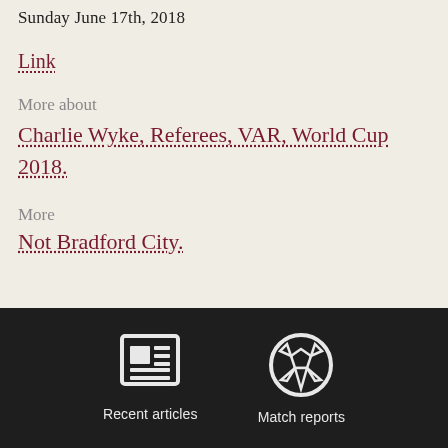Sunday June 17th, 2018
Link
More about
Charlie Wyke, Referees, VAR, World Cup 2018.
More
Not Bradford City.
Recent articles   Match reports